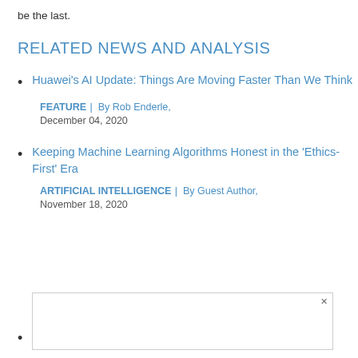be the last.
RELATED NEWS AND ANALYSIS
Huawei's AI Update: Things Are Moving Faster Than We Think
FEATURE | By Rob Enderle,
December 04, 2020
Keeping Machine Learning Algorithms Honest in the 'Ethics-First' Era
ARTIFICIAL INTELLIGENCE | By Guest Author,
November 18, 2020
Key T…